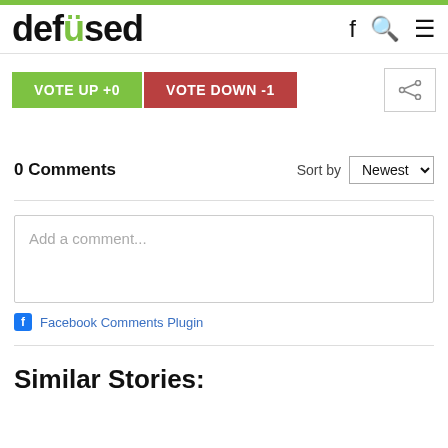defused
VOTE UP +0
VOTE DOWN -1
0 Comments
Sort by Newest
Add a comment...
Facebook Comments Plugin
Similar Stories: